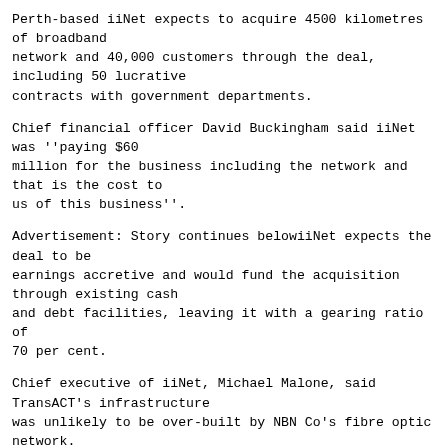Perth-based iiNet expects to acquire 4500 kilometres of broadband
network and 40,000 customers through the deal, including 50 lucrative
contracts with government departments.
Chief financial officer David Buckingham said iiNet was ''paying $60
million for the business including the network and that is the cost to
us of this business''.
Advertisement: Story continues belowiiNet expects the deal to be
earnings accretive and would fund the acquisition through existing cash
and debt facilities, leaving it with a gearing ratio of 70 per cent.
Chief executive of iiNet, Michael Malone, said TransACT's infrastructure
was unlikely to be over-built by NBN Co's fibre optic network.
''Over-building TransACT, particularly in Canberra, would be
commercially and politically odd,'' he said.
TransACT has been on the market since June 30 and the deal with iiNet